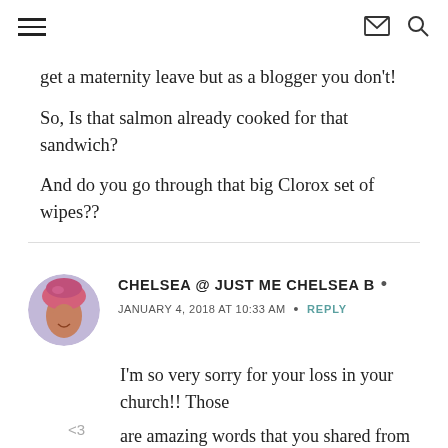≡  ✉ 🔍
get a maternity leave but as a blogger you don't!
So, Is that salmon already cooked for that sandwich?
And do you go through that big Clorox set of wipes??
CHELSEA @ JUST ME CHELSEA B •
JANUARY 4, 2018 AT 10:33 AM • REPLY
I'm so very sorry for your loss in your church!! Those are amazing words that you shared from him though! <3